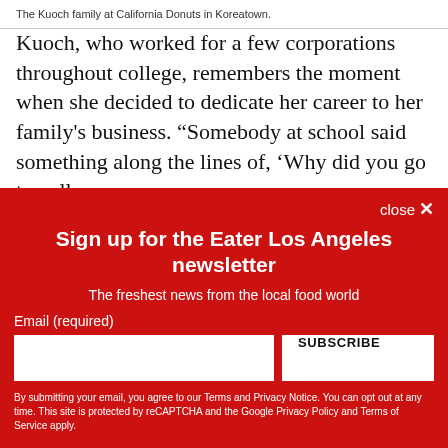The Kuoch family at California Donuts in Koreatown.
Kuoch, who worked for a few corporations throughout college, remembers the moment when she decided to dedicate her career to her family's business. “Somebody at school said something along the lines of, ‘Why did you go to coll...
Sign up for the Eater Los Angeles newsletter
The freshest news from the local food world
Email (required)
By submitting your email, you agree to our Terms and Privacy Notice. You can opt out at any time. This site is protected by reCAPTCHA and the Google Privacy Policy and Terms of Service apply.